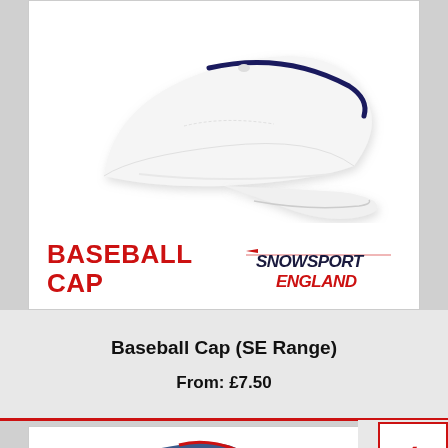[Figure (photo): White baseball cap with navy blue trim, product image for Baseball Cap (SE Range) by Snowsport England. Text 'BASEBALL CAP' in red bold font on lower left, Snowsport England logo on lower right.]
Baseball Cap (SE Range)
From: £7.50
[Figure (photo): Partially visible second product card showing a blue cap at the bottom of the page.]